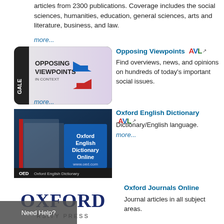articles from 2300 publications. Coverage includes the social sciences, humanities, education, general sciences, arts and literature, business, and law.
more...
[Figure (logo): Opposing Viewpoints in Context - Gale logo with blue and red arrows]
Opposing Viewpoints
Find overviews, news, and opinions on hundreds of today's important social issues.
more...
[Figure (logo): Oxford English Dictionary Online logo - OED www.oed.com book cover image]
Oxford English Dictionary
Dictionary/English language.
more...
[Figure (logo): Oxford University Press logo text]
Oxford Journals Online
Journal articles in all subject areas.
Need Help?